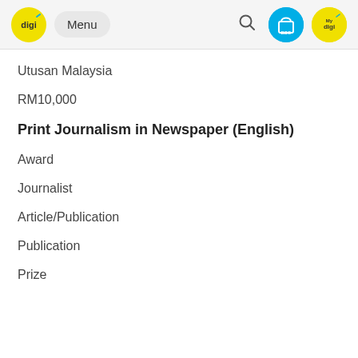digi | Menu | BSO | My digi
Utusan Malaysia
RM10,000
Print Journalism in Newspaper (English)
Award
Journalist
Article/Publication
Publication
Prize